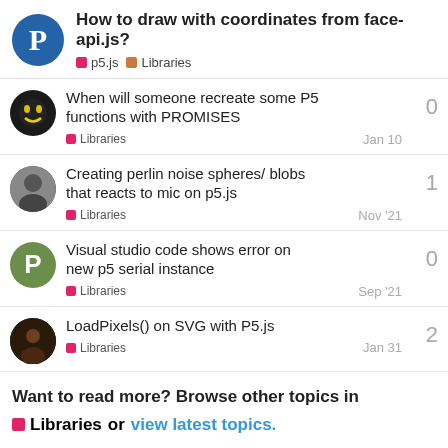How to draw with coordinates from face-api.js? | p5.js | Libraries
When will someone recreate some P5 functions with PROMISES | Libraries | Jan 10 | 0 replies
Creating perlin noise spheres/ blobs that reacts to mic on p5.js | Libraries | Nov '21 | 1 reply
Visual studio code shows error on new p5 serial instance | Libraries | Sep '21 | 0 replies
LoadPixels() on SVG with P5.js | Libraries | Jan 31 | 2 replies
Want to read more? Browse other topics in Libraries or view latest topics.